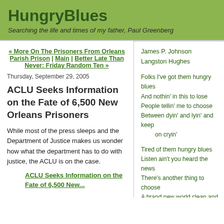HungryBlues
Searching the life and times of my father, Paul Greenberg
« More On The Prisoners From Orleans Parish Prison | Main | Better Late Than Never: Friday Random Ten »
Thursday, September 29, 2005
ACLU Seeks Information on the Fate of 6,500 New Orleans Prisoners
While most of the press sleeps and the Department of Justice makes us wonder how what the department has to do with justice, the ACLU is on the case.
ACLU Seeks Information on the Fate of 6,500 New...
James P. Johnson
Langston Hughes
Folks I've got them hungry blues
And nothin' in this to lose
People tellin' me to choose
Between dyin' and lyin' and keep on cryin'

Tired of them hungry blues
Listen ain't you heard the news
There's another thing to choose
A brand new world clean and fine
Where nobody's hungry
And there's no color line
A thing like that's worth anybody dyin'
I ain't got a thing to lose
But them doggone hungry blues
as recorded June15, 1939